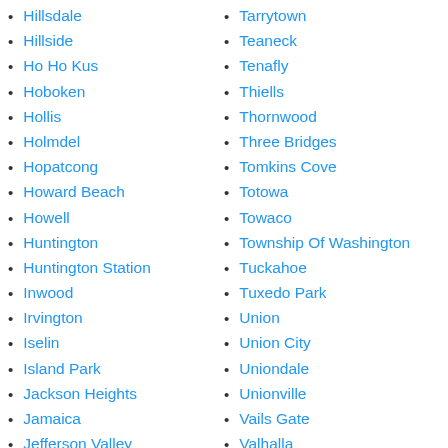Hillsdale
Hillside
Ho Ho Kus
Hoboken
Hollis
Holmdel
Hopatcong
Howard Beach
Howell
Huntington
Huntington Station
Inwood
Irvington
Iselin
Island Park
Jackson Heights
Jamaica
Jefferson Valley
Jericho
Tarrytown
Teaneck
Tenafly
Thiells
Thornwood
Three Bridges
Tomkins Cove
Totowa
Towaco
Township Of Washington
Tuckahoe
Tuxedo Park
Union
Union City
Uniondale
Unionville
Vails Gate
Valhalla